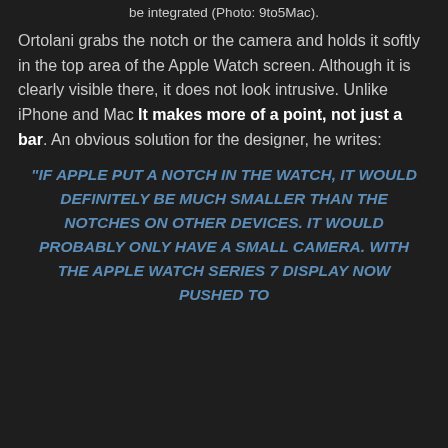be integrated (Photo: 9to5Mac).
Ortolani grabs the notch or the camera and holds it softly in the top area of the Apple Watch screen. Although it is clearly visible there, it does not look intrusive. Unlike iPhone and Mac It makes more of a point, not just a bar. An obvious solution for the designer, he writes:
“IF APPLE PUT A NOTCH IN THE WATCH, IT WOULD DEFINITELY BE MUCH SMALLER THAN THE NOTCHES ON OTHER DEVICES. IT WOULD PROBABLY ONLY HAVE A SMALL CAMERA. WITH THE APPLE WATCH SERIES 7 DISPLAY NOW PUSHED TO